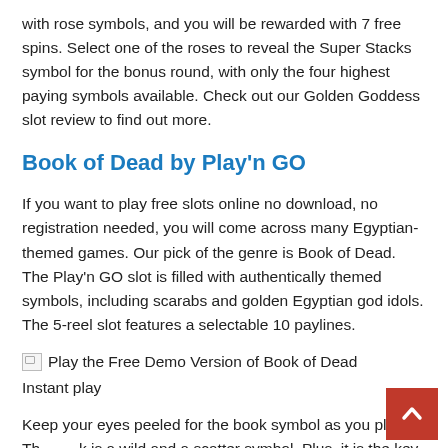with rose symbols, and you will be rewarded with 7 free spins. Select one of the roses to reveal the Super Stacks symbol for the bonus round, with only the four highest paying symbols available. Check out our Golden Goddess slot review to find out more.
Book of Dead by Play'n GO
If you want to play free slots online no download, no registration needed, you will come across many Egyptian-themed games. Our pick of the genre is Book of Dead. The Play'n GO slot is filled with authentically themed symbols, including scarabs and golden Egyptian god idols. The 5-reel slot features a selectable 10 paylines.
[Figure (illustration): Broken image icon followed by link text: Play the Free Demo Version of Book of Dead]
Instant play
Keep your eyes peeled for the book symbol as you play. Th[scroll button overlay]k is a wild and a scatter symbol. Plus, it is the key to unlocking the